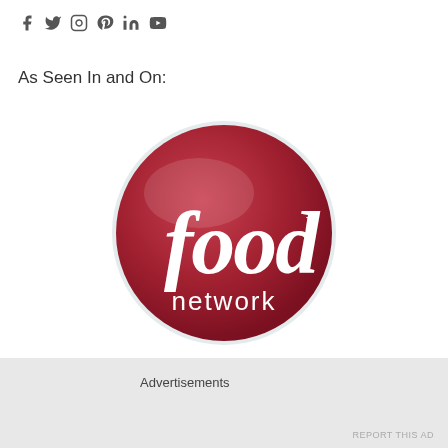[Figure (other): Social media icons: Facebook, Twitter, Instagram, Pinterest, LinkedIn, YouTube]
As Seen In and On:
[Figure (logo): Food Network logo — circular red gradient badge with white italic 'food' text and 'network' beneath, TM mark]
Advertisements
[Figure (other): Close/X button circle icon]
REPORT THIS AD